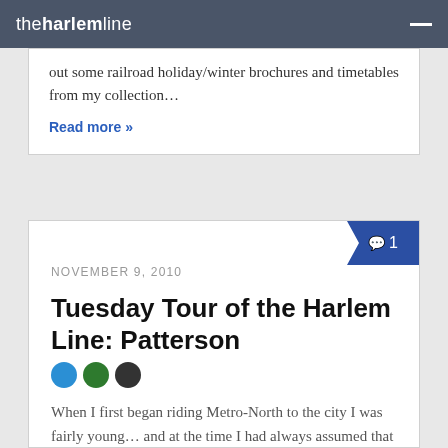theharlemline
out some railroad holiday/winter brochures and timetables from my collection…
Read more »
NOVEMBER 9, 2010
Tuesday Tour of the Harlem Line: Patterson
When I first began riding Metro-North to the city I was fairly young… and at the time I had always assumed that Brewster North was the end of the Harlem Line. It was my train's last